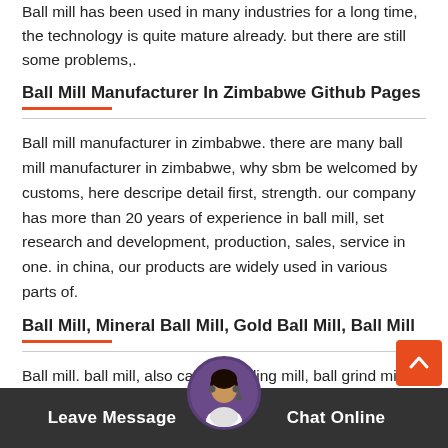Ball mill has been used in many industries for a long time, the technology is quite mature already. but there are still some problems,.
Ball Mill Manufacturer In Zimbabwe Github Pages
Ball mill manufacturer in zimbabwe. there are many ball mill manufacturer in zimbabwe, why sbm be welcomed by customs, here descripe detail first, strength. our company has more than 20 years of experience in ball mill, set research and development, production, sales, service in one. in china, our products are widely used in various parts of.
Ball Mill, Mineral Ball Mill, Gold Ball Mill, Ball Mill
Ball mill. ball mill, also called grinding mill, ball grind mill, is the key equipment nd crushed materials into fine powder 2075 micron has grade fing and overflow type, 25mm feed size, 18 5800kw motor pows
Leave Message   Chat Online